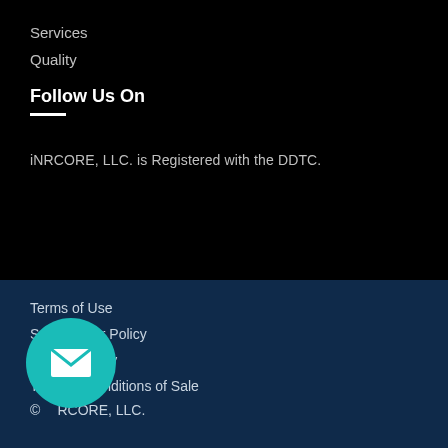Services
Quality
Follow Us On
iNRCORE, LLC. is Registered with the DDTC.
Terms of Use
Safe Harbor Policy
Privacy Policy
Terms & Conditions of Sale
© iNRCORE, LLC.